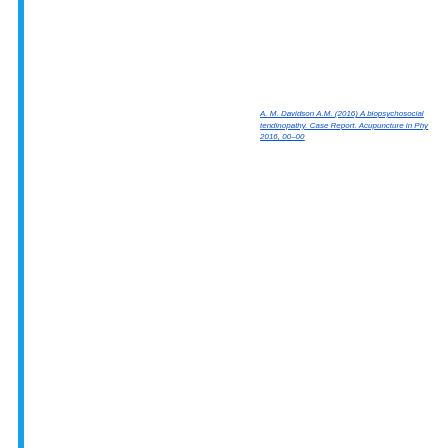A. M. Davidson A.M. (2016) A biopsychosocial ... tendinopathy. Case Report. Acupuncture in Phy... 2016, 00–00